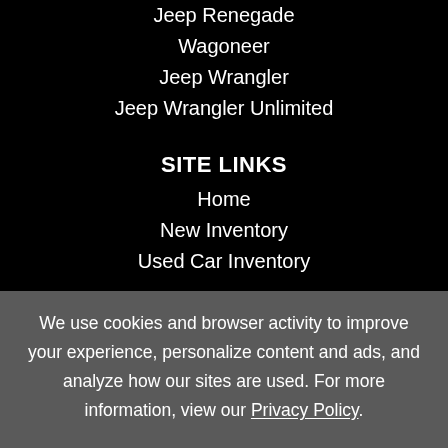Jeep Renegade
Wagoneer
Jeep Wrangler
Jeep Wrangler Unlimited
SITE LINKS
Home
New Inventory
Used Car Inventory
We use cookies and browser activity to improve your experience, personalize content and ads, and analyze how our sites are used. For more information, view our Privacy Policy.
Accept